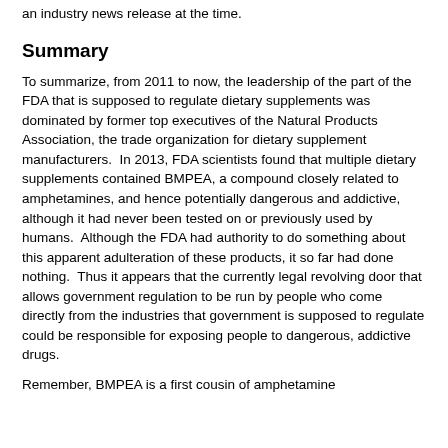an industry news release at the time.
Summary
To summarize, from 2011 to now, the leadership of the part of the FDA that is supposed to regulate dietary supplements was dominated by former top executives of the Natural Products Association, the trade organization for dietary supplement manufacturers.  In 2013, FDA scientists found that multiple dietary supplements contained BMPEA, a compound closely related to amphetamines, and hence potentially dangerous and addictive, although it had never been tested on or previously used by humans.  Although the FDA had authority to do something about this apparent adulteration of these products, it so far had done nothing.  Thus it appears that the currently legal revolving door that allows government regulation to be run by people who come directly from the industries that government is supposed to regulate could be responsible for exposing people to dangerous, addictive drugs.
Remember, BMPEA is a first cousin of amphetamine